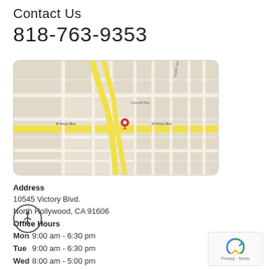Contact Us
818-763-9353
[Figure (map): Google Maps screenshot showing North Hollywood area near Victory Blvd and Cahuenga Blvd, with a red location pin marking 10545 Victory Blvd.]
Address
10545 Victory Blvd.
North Hollywood, CA 91606
Office Hours
Mon 9:00 am - 6:30 pm
Tue 9:00 am - 6:30 pm
Wed 8:00 am - 5:00 pm
Thu 9:00 am - 6:30 pm
Fri 8:00 am - 5:00 pm